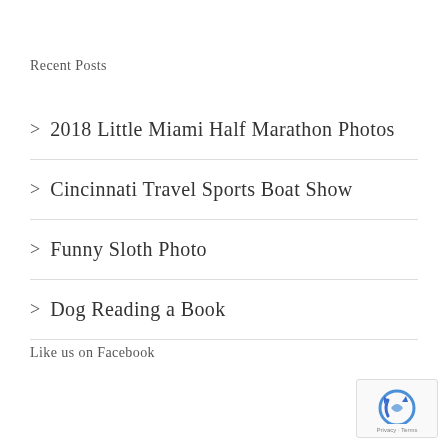Recent Posts
> 2018 Little Miami Half Marathon Photos
> Cincinnati Travel Sports Boat Show
> Funny Sloth Photo
> Dog Reading a Book
Like us on Facebook
[Figure (logo): Google reCAPTCHA badge with Privacy and Terms links]